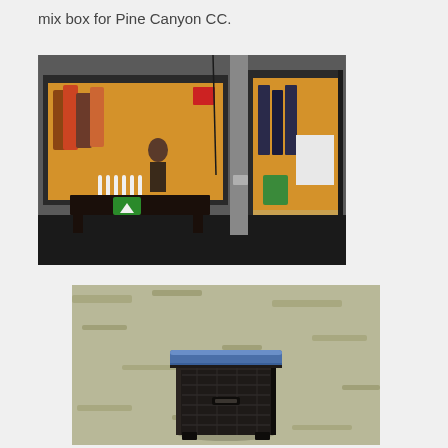mix box for Pine Canyon CC.
[Figure (photo): Exterior of a golf club pro shop or clubhouse. A dark wooden display table with a club crest and several white spray bottles is positioned in front of a large window showing merchandise inside. To the right is a glass door also showing clothing inside.]
[Figure (photo): A dark plastic storage box/container with a blue lid sitting on a grass lawn outdoors.]